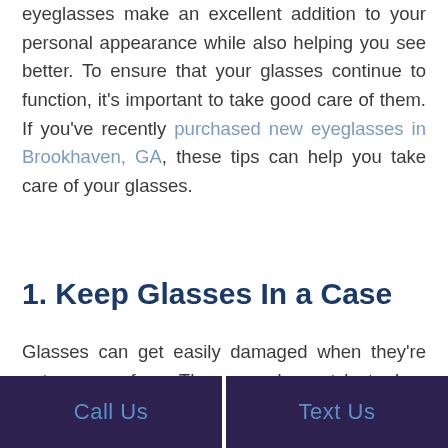eyeglasses make an excellent addition to your personal appearance while also helping you see better. To ensure that your glasses continue to function, it's important to take good care of them. If you've recently purchased new eyeglasses in Brookhaven, GA, these tips can help you take care of your glasses.
1. Keep Glasses In a Case
Glasses can get easily damaged when they're not on your face. They can also get lost when they're left folded on a table or in your purse. Keeping your glasses in a case can protect your glasses from scratches while also preventing them from getting lost.